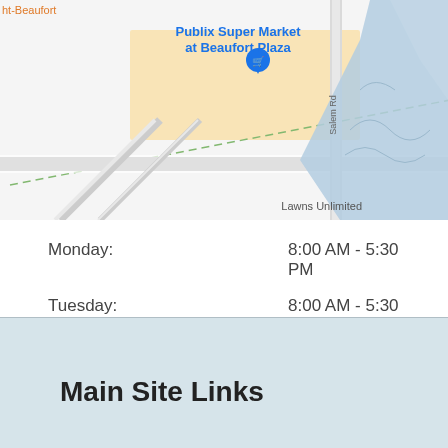[Figure (map): Google Maps screenshot showing area near Beaufort Plaza, with Publix Super Market at Beaufort Plaza labeled, Salem Rd visible, Lawns Unlimited labeled, and a water/marsh area in blue-gray to the right.]
Monday:    8:00 AM - 5:30 PM
Tuesday:    8:00 AM - 5:30 PM
Wednesday:    8:00 AM - 5:30 PM
Thursday:    8:00 AM - 5:30 PM
Friday:    Closed
Saturday:    Closed
Sunday:    Closed
Main Site Links